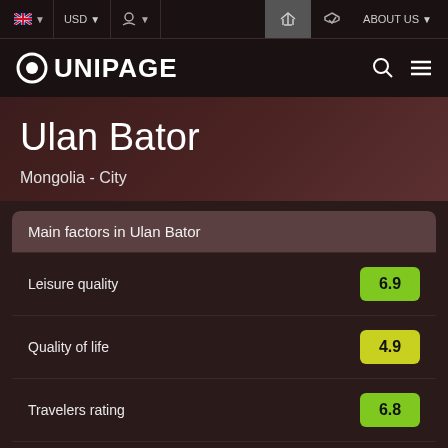UNIPAGE — USD — ABOUT US
Ulan Bator
Mongolia - City
| Main factors in Ulan Bator | Score |
| --- | --- |
| Leisure quality | 6.9 |
| Quality of life | 4.9 |
| Travelers rating | 6.8 |
| Travelers Rating | 5.2 |
| English speaking | 4.0 |